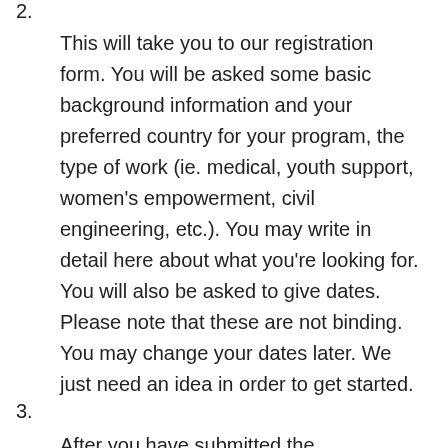2. This will take you to our registration form. You will be asked some basic background information and your preferred country for your program, the type of work (ie. medical, youth support, women's empowerment, civil engineering, etc.). You may write in detail here about what you're looking for. You will also be asked to give dates. Please note that these are not binding. You may change your dates later. We just need an idea in order to get started.
3. After you have submitted the registration/application form, we do a preliminary evaluation to make sure we are confident that is something we can arrange. If so, we will a…